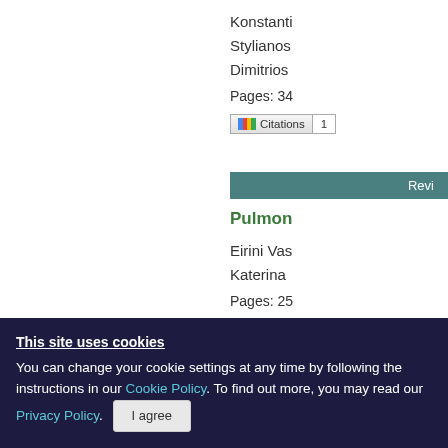Konstanti
Styleanos
Dimitrios
Pages: 34
[Figure (other): Citations badge with colorful Google Scholar icon and count 1]
Revi
Pulmon
Eirini Vas
Katerina
Pages: 25
[Figure (other): Citations badge with colorful Google Scholar icon and count 0]
This site uses cookies
You can change your cookie settings at any time by following the instructions in our Cookie Policy. To find out more, you may read our Privacy Policy.
I agree